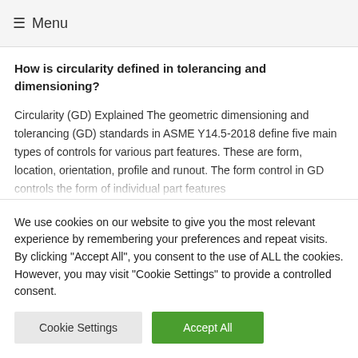≡ Menu
How is circularity defined in tolerancing and dimensioning?
Circularity (GD) Explained The geometric dimensioning and tolerancing (GD) standards in ASME Y14.5-2018 define five main types of controls for various part features. These are form, location, orientation, profile and runout. The form control in GD controls the form of individual part features...
We use cookies on our website to give you the most relevant experience by remembering your preferences and repeat visits. By clicking "Accept All", you consent to the use of ALL the cookies. However, you may visit "Cookie Settings" to provide a controlled consent.